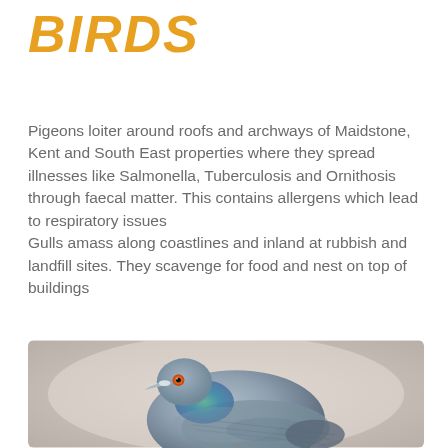BIRDS
Pigeons loiter around roofs and archways of Maidstone, Kent and South East properties where they spread illnesses like Salmonella, Tuberculosis and Ornithosis through faecal matter. This contains allergens which lead to respiratory issues
Gulls amass along coastlines and inland at rubbish and landfill sites. They scavenge for food and nest on top of buildings
[Figure (photo): Close-up photo of a pigeon (rock dove) with blue-grey and green iridescent feathers, red eye, and pale beak, against a blurred beige background.]